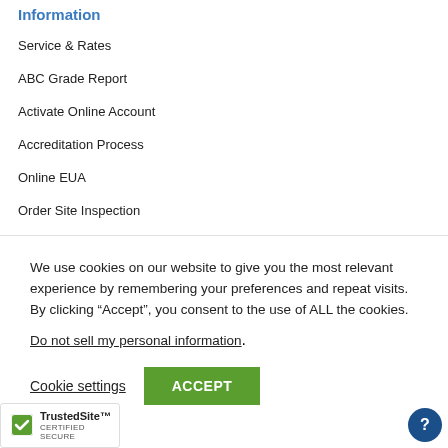Information
Service & Rates
ABC Grade Report
Activate Online Account
Accreditation Process
Online EUA
Order Site Inspection
Pay Invoice
We use cookies on our website to give you the most relevant experience by remembering your preferences and repeat visits. By clicking “Accept”, you consent to the use of ALL the cookies.
Do not sell my personal information.
Cookie settings   ACCEPT